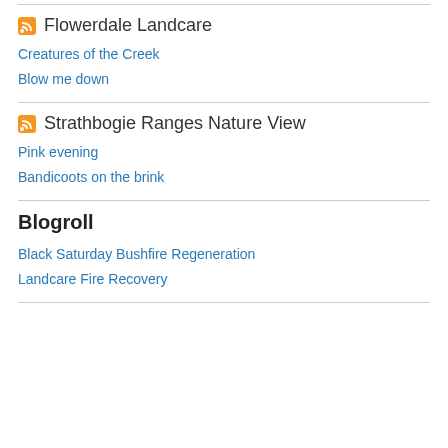Flowerdale Landcare
Creatures of the Creek
Blow me down
Strathbogie Ranges Nature View
Pink evening
Bandicoots on the brink
Blogroll
Black Saturday Bushfire Regeneration
Landcare Fire Recovery